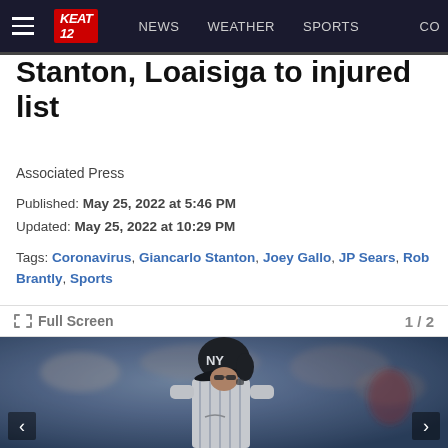KEAT 12 | NEWS | WEATHER | SPORTS | CO...
Stanton, Loaisiga to injured list
Associated Press
Published: May 25, 2022 at 5:46 PM
Updated: May 25, 2022 at 10:29 PM
Tags: Coronavirus, Giancarlo Stanton, Joey Gallo, JP Sears, Rob Brantly, Sports
Full Screen  1 / 2
[Figure (photo): New York Yankees player in pinstripe uniform and batting helmet with NY logo, standing on field with blurred stadium crowd in background]